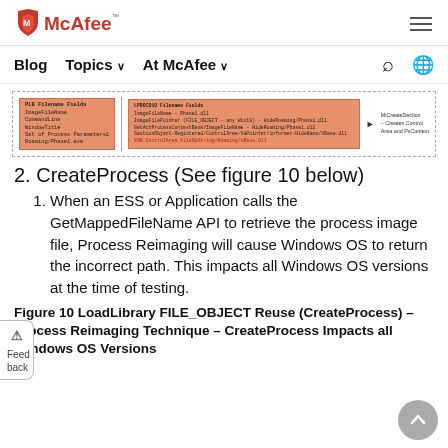McAfee
[Figure (infographic): Diagram showing LoadLibrary FILE_OBJECT Reuse with CreateProcess Process Reimaging Technique. Two dashed-border boxes connected by arrows. Left box shows 'PLB Filename Fields' with ImageFileName, CommandLine, WindowTitle, and other fields. Right box shows LPROCD10 Filename Fields with ImageFileName-Phase1.dll, ImageFilePointer (FILE_OBJECT - any Word32) - HideRoaming/Phase1.dll, GetActProcessContextBase/ImageFileName - HideRoaming/Phase1.dll, SectionObject-Registered/ControlArea-VaPointer/informer-HideName/VBase.dll, VAD.ControlArea.FileOpString-Roaming/vbase.dll highlighted. Arrow pointing to note: MiCreateSection - Creates Control Area and PsContext.]
2. CreateProcess (See figure 10 below)
When an ESS or Application calls the GetMappedFileName API to retrieve the process image file, Process Reimaging will cause Windows OS to return the incorrect path. This impacts all Windows OS versions at the time of testing.
Figure 10 LoadLibrary FILE_OBJECT Reuse (CreateProcess) – Process Reimaging Technique – CreateProcess Impacts all Windows OS Versions